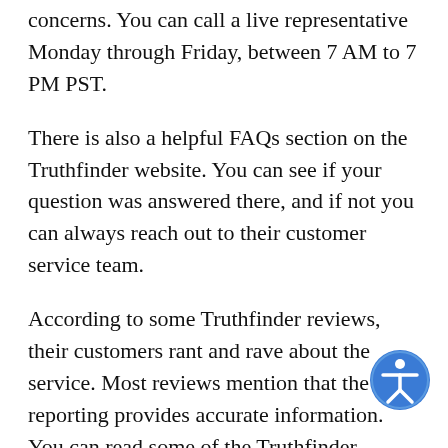concerns. You can call a live representative Monday through Friday, between 7 AM to 7 PM PST.
There is also a helpful FAQs section on the Truthfinder website. You can see if your question was answered there, and if not you can always reach out to their customer service team.
According to some Truthfinder reviews, their customers rant and rave about the service. Most reviews mention that the reporting provides accurate information. You can read some of the Truthfinder reviews on their website or Google.
Safe and Secure Data with Truthfinder
All customer personal information is safe and secure when using Truthfinder.
[Figure (illustration): Accessibility icon — a blue circle with a white figure/person symbol in the center, indicating accessibility features.]